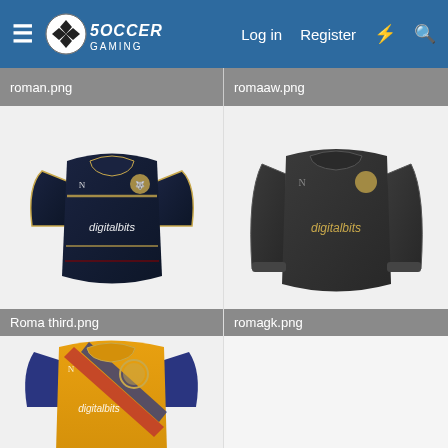Soccer Gaming — Log in | Register
roman.png
romaaw.png
[Figure (photo): AS Roma third kit — dark navy blue short-sleeve jersey with gold trim and Digitalbits sponsor text, New Balance logo, AS Roma crest]
Roma third.png
[Figure (photo): AS Roma goalkeeper kit — dark grey/charcoal long-sleeve jersey with Digitalbits sponsor text, New Balance logo, AS Roma crest]
romagk.png
[Figure (photo): AS Roma yellow/gold fourth kit — golden yellow short-sleeve jersey with diagonal red and blue stripes, Digitalbits sponsor text, New Balance logo, AS Roma crest]
(bottom left kit, partially visible)